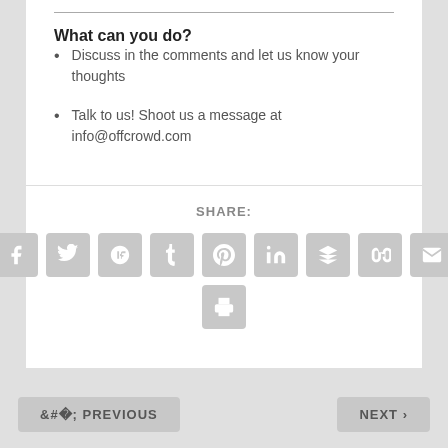What can you do?
Discuss in the comments and let us know your thoughts
Talk to us! Shoot us a message at info@offcrowd.com
SHARE:
[Figure (infographic): Row of 9 social sharing icon buttons (Facebook, Twitter, Google+, Tumblr, Pinterest, LinkedIn, Buffer/layers, StumbleUpon, Email) plus one print button below center, all styled as grey rounded squares with white icons]
< PREVIOUS
NEXT >